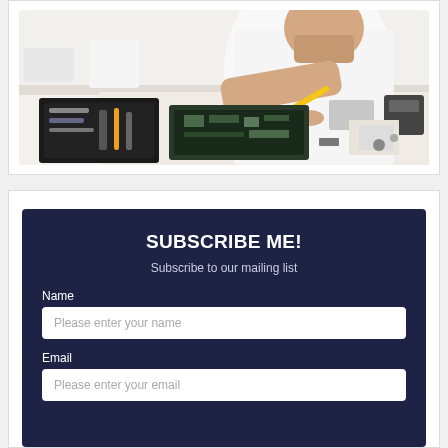[Figure (photo): A man in a white shirt working on disassembled laptop/electronics at a workbench with tools and components visible]
SUBSCRIBE ME!
Subscribe to our mailing list
Name
Please enter your name
Email
Please enter your email